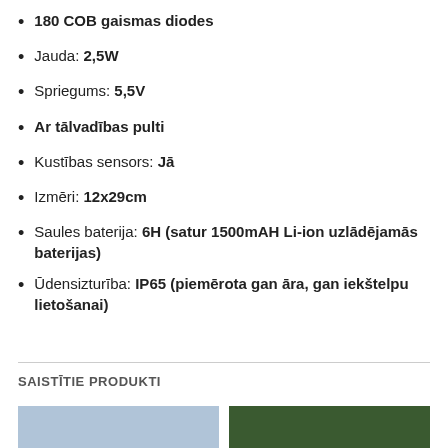180 COB gaismas diodes
Jauda: 2,5W
Spriegums: 5,5V
Ar tālvadības pulti
Kustības sensors: Jā
Izmēri: 12x29cm
Saules baterija: 6H (satur 1500mAH Li-ion uzlādējamās baterijas)
Ūdensizturība: IP65 (piemērota gan āra, gan iekštelpu lietošanai)
SAISTĪTIE PRODUKTI
[Figure (photo): Product image placeholder left]
[Figure (photo): Product image placeholder right]